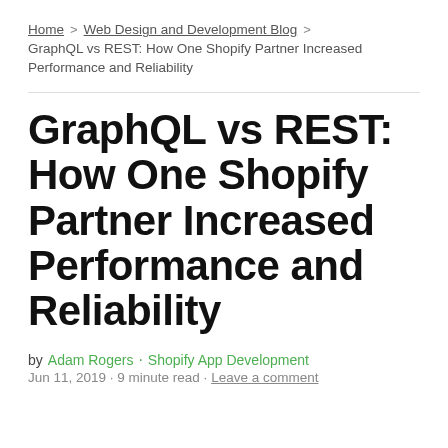Home > Web Design and Development Blog > GraphQL vs REST: How One Shopify Partner Increased Performance and Reliability
GraphQL vs REST: How One Shopify Partner Increased Performance and Reliability
by Adam Rogers · Shopify App Development
Jun 11, 2019 · 9 minute read · Leave a comment